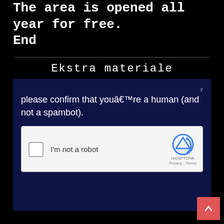The area is opened all year for free. End
Ekstra materiale
[Figure (screenshot): Screenshot of a reCAPTCHA widget on a dark navy background. Text reads 'please confirm that youâ€™re a human (and not a spambot).' with an unchecked checkbox labeled 'I'm not a robot' and the reCAPTCHA logo with Privacy and Terms links.]